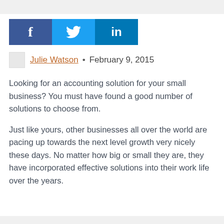[Figure (other): Social media share buttons: Facebook (blue), Twitter (light blue), LinkedIn (dark blue)]
Julie Watson · February 9, 2015
Looking for an accounting solution for your small business? You must have found a good number of solutions to choose from.
Just like yours, other businesses all over the world are pacing up towards the next level growth very nicely these days. No matter how big or small they are, they have incorporated effective solutions into their work life over the years.